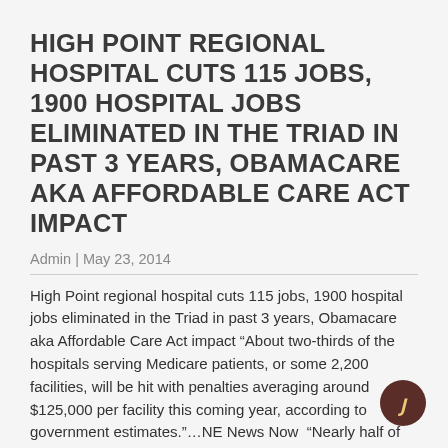HIGH POINT REGIONAL HOSPITAL CUTS 115 JOBS, 1900 HOSPITAL JOBS ELIMINATED IN THE TRIAD IN PAST 3 YEARS, OBAMACARE AKA AFFORDABLE CARE ACT IMPACT
Admin | May 23, 2014
High Point regional hospital cuts 115 jobs, 1900 hospital jobs eliminated in the Triad in past 3 years, Obamacare aka Affordable Care Act impact “About two-thirds of the hospitals serving Medicare patients, or some 2,200 facilities, will be hit with penalties averaging around $125,000 per facility this coming year, according to government estimates.”…NE News Now  “Nearly half of U.S. companies are reluctant to hire full-time employees because of the ACA. One in five firms indicates they are likely to hire fewer employees, and another one in 10 may lay
READ MORE >